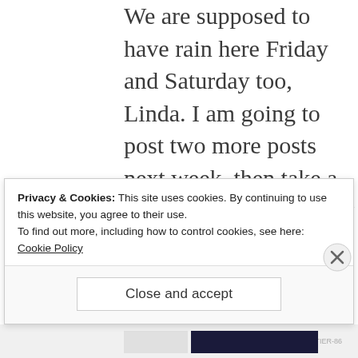We are supposed to have rain here Friday and Saturday too, Linda. I am going to post two more posts next week, then take a break while we visit my sister in Cape Cod and my son and daughter-in-law in Oregon. I don't want to be stressing about writing blog posts while visiting family
Privacy & Cookies: This site uses cookies. By continuing to use this website, you agree to their use. To find out more, including how to control cookies, see here: Cookie Policy
Close and accept